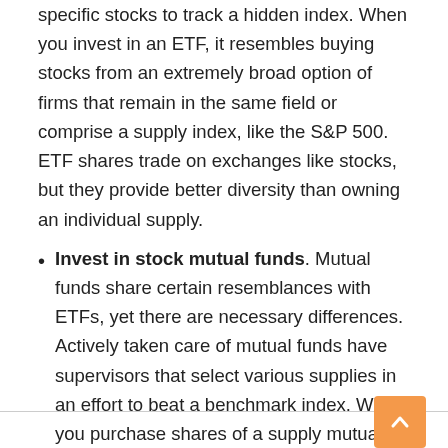specific stocks to track a hidden index. When you invest in an ETF, it resembles buying stocks from an extremely broad option of firms that remain in the same field or comprise a supply index, like the S&P 500. ETF shares trade on exchanges like stocks, but they provide better diversity than owning an individual supply.
Invest in stock mutual funds. Mutual funds share certain resemblances with ETFs, yet there are necessary differences. Actively taken care of mutual funds have supervisors that select various supplies in an effort to beat a benchmark index. When you purchase shares of a supply mutual fund, your earnings originate from dividends, interest income as well as funding gains. Lower-cost index funds are mutual funds that work more like ETFs.